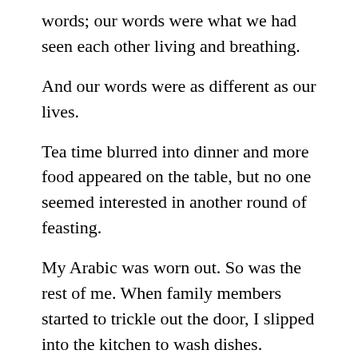words; our words were what we had seen each other living and breathing.
And our words were as different as our lives.
Tea time blurred into dinner and more food appeared on the table, but no one seemed interested in another round of feasting.
My Arabic was worn out. So was the rest of me. When family members started to trickle out the door, I slipped into the kitchen to wash dishes. Chaimae made beds on the floor. She gave me a couch pillow so high that my neck immediately began to ache. I waited until the light was out to quietly set it aside.
Partway through the night, the light switched on.